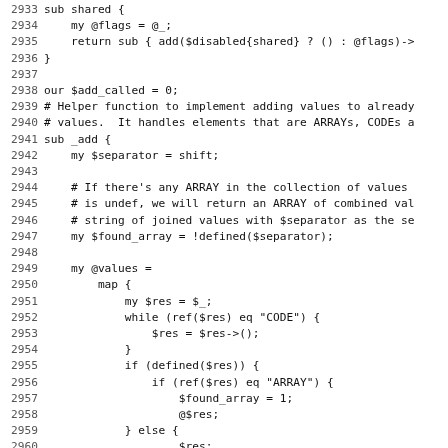Source code listing, lines 2933–2964+, Perl code showing sub shared, $add_called, sub _add with map block processing ARRAY and CODE references